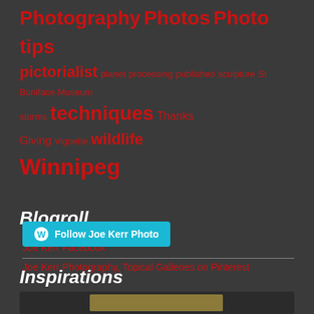Photography Photos Photo tips pictorialist planet processing published sculpture St Boniface Museum storms techniques Thanks Giving Vignette wildlife Winnipeg
Blogroll
Joe Kerr Facebook
Joe Kerr Photography, Topical Galleries on Pinterest
Follow Joe Kerr Photo
Inspirations
[Figure (screenshot): Partially visible image at the bottom of the page, appears to be a dark framed photo widget]